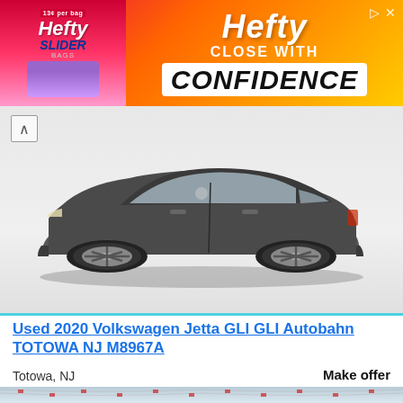[Figure (photo): Hefty Slider Bags advertisement banner with pink/red/orange/yellow gradient background. Left side shows Hefty Slider bag product image. Right side shows 'Hefty CLOSE WITH CONFIDENCE' text in large bold letters on white background.]
[Figure (photo): Front/side view of a dark gray 2020 Volkswagen Jetta GLI Autobahn sedan on white background, showing front bumper, headlights, and alloy wheels.]
Used 2020 Volkswagen Jetta GLI GLI Autobahn TOTOWA NJ M8967A
Totowa, NJ
Make offer
[Figure (photo): Outdoor car dealership lot photo with colorful pennant flags strung overhead, multiple cars visible, cloudy sky in background.]